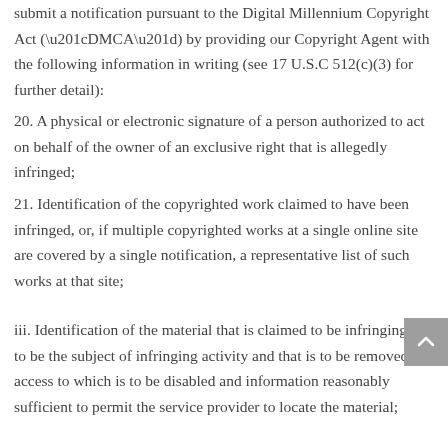submit a notification pursuant to the Digital Millennium Copyright Act (“DMCA”) by providing our Copyright Agent with the following information in writing (see 17 U.S.C 512(c)(3) for further detail):
20. A physical or electronic signature of a person authorized to act on behalf of the owner of an exclusive right that is allegedly infringed;
21. Identification of the copyrighted work claimed to have been infringed, or, if multiple copyrighted works at a single online site are covered by a single notification, a representative list of such works at that site;
iii. Identification of the material that is claimed to be infringing or to be the subject of infringing activity and that is to be removed or access to which is to be disabled and information reasonably sufficient to permit the service provider to locate the material;